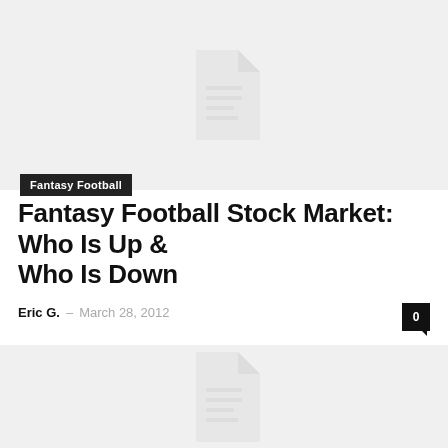[Figure (illustration): Gray placeholder image block with a document/file icon in the center]
Fantasy Football
Fantasy Football Stock Market: Who Is Up & Who Is Down
Eric G. – March 28, 2012
[Figure (illustration): Gray placeholder image block with a document/file icon in the center (partial, bottom of page)]